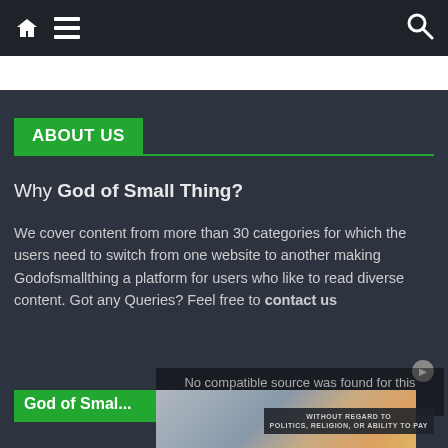Navigation bar with home, menu, and search icons
ABOUT US
Why God of Small Thing?
We cover content from more than 30 categories for which the users need to switch from one website to another making Godofsmallthing a platform for users who like to read diverse content. Got any Queries? Feel free to contact us
[Figure (screenshot): Video player overlay with message: No compatible source was found for this media]
[Figure (photo): Airplane cargo loading photo with text overlay: WITHOUT REGARD TO POLITICS, RELIGION, OR ABILITY TO PAY]